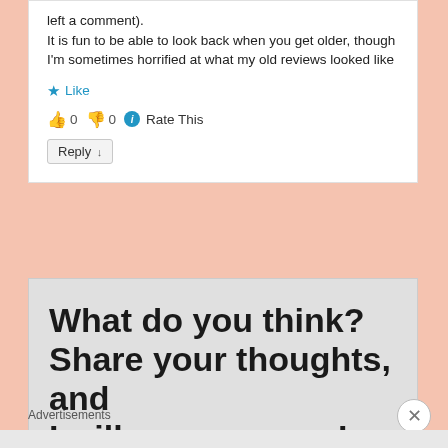left a comment). It is fun to be able to look back when you get older, though I'm sometimes horrified at what my old reviews looked like
★ Like
👍 0 👎 0 ℹ Rate This
Reply ↓
What do you think? Share your thoughts, and I will answer you. I will
Advertisements